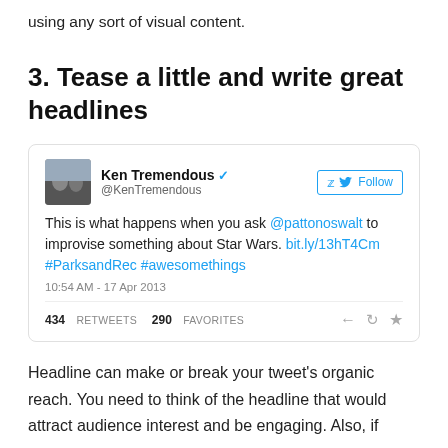using any sort of visual content.
3. Tease a little and write great headlines
[Figure (screenshot): Screenshot of a tweet by Ken Tremendous (@KenTremendous) with verified badge. Tweet text: 'This is what happens when you ask @pattonoswalt to improvise something about Star Wars. bit.ly/13hT4Cm #ParksandRec #awesomethings'. Time: 10:54 AM - 17 Apr 2013. 434 RETWEETS 290 FAVORITES.]
Headline can make or break your tweet's organic reach. You need to think of the headline that would attract audience interest and be engaging. Also, if